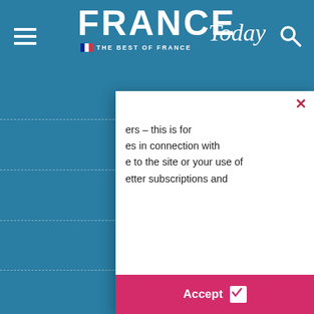FRANCE Today – THE BEST OF FRANCE
[Figure (screenshot): France Today website screenshot showing navigation header with hamburger menu icon on left, FRANCE Today logo in center with French flag and tagline 'THE BEST OF FRANCE', and search icon on right, on teal/blue background]
[Figure (screenshot): Website accordion/expandable menu rows with plus (+) icons on teal background, partially overlaid by a cookie/consent popup modal with close button (x), partial text about newsletter subscriptions, and a pink Accept button with checkmark]
ers – this is for es in connection with e to the site or your use of etter subscriptions and
Accept